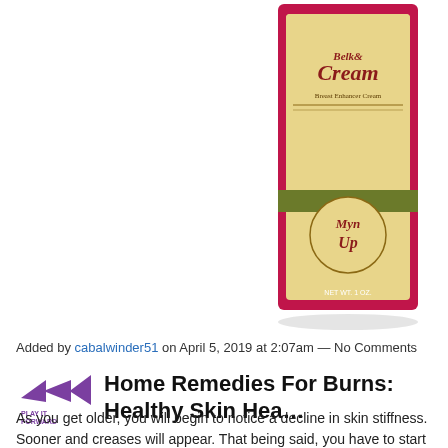[Figure (photo): Product image of BelkCream Breast Enhancer Cream in a pink box with gold label, showing 'Myn Up' branding on the front]
Added by cabalwinder51 on April 5, 2019 at 2:07am — No Comments
Home Remedies For Burns: Healthy Skin Hea...
As you get older, you will begin to notice a decline in skin stiffness. Sooner and creases will appear. That being said, you have to start maintaining you...